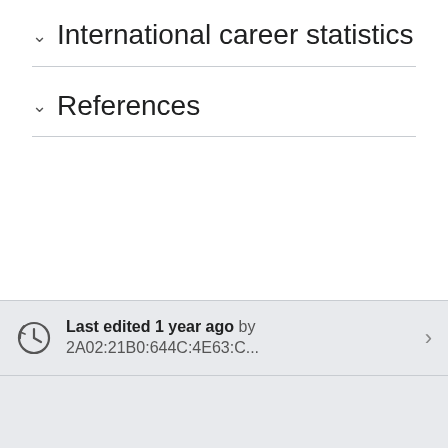International career statistics
References
Last edited 1 year ago by 2A02:21B0:644C:4E63:C...